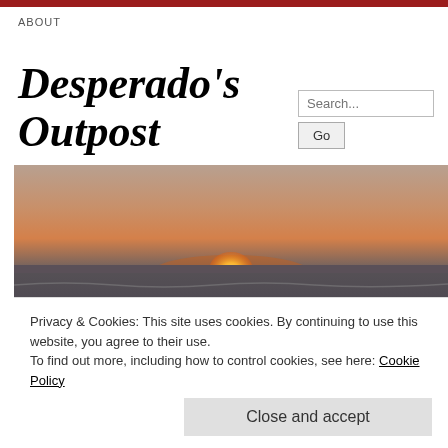ABOUT
Desperado's Outpost
[Figure (photo): Sunset over ocean waves — orange sun setting on the horizon above dark choppy water]
Privacy & Cookies: This site uses cookies. By continuing to use this website, you agree to their use.
To find out more, including how to control cookies, see here: Cookie Policy
Close and accept